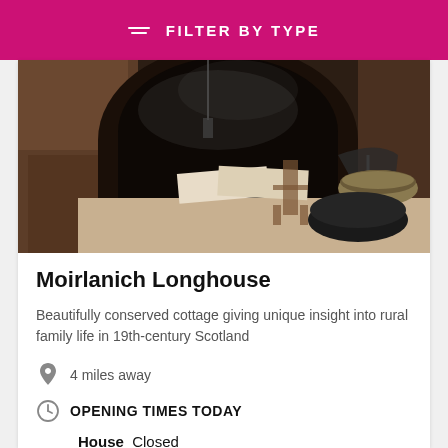FILTER BY TYPE
[Figure (photo): Interior of Moirlanich Longhouse showing a traditional Scottish cottage with a large stone fireplace, open books on a table, a ceramic bowl, and rustic furniture]
Moirlanich Longhouse
Beautifully conserved cottage giving unique insight into rural family life in 19th-century Scotland
4 miles away
OPENING TIMES TODAY
House  Closed
See full opening times